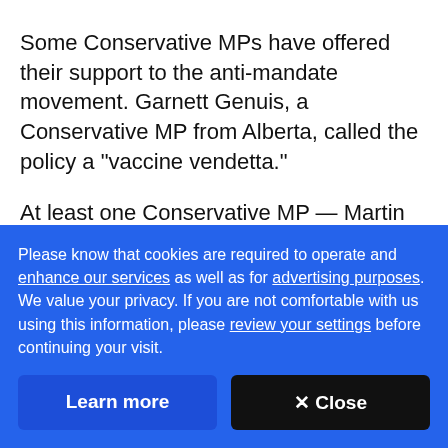Some Conservative MPs have offered their support to the anti-mandate movement. Garnett Genuis, a Conservative MP from Alberta, called the policy a "vaccine vendetta."
At least one Conservative MP — Martin Shields, who represents the Alberta riding of Bow River in the House of Commons — said he would be on hand in Ottawa to meet the convoy when it arrives. He said there should be "exceptions" to the mandate, including for essential
Please know that cookies are required to operate and enhance our services as well as for advertising purposes. We value your privacy. If you are not comfortable with us using this information, please review your settings before continuing your visit.